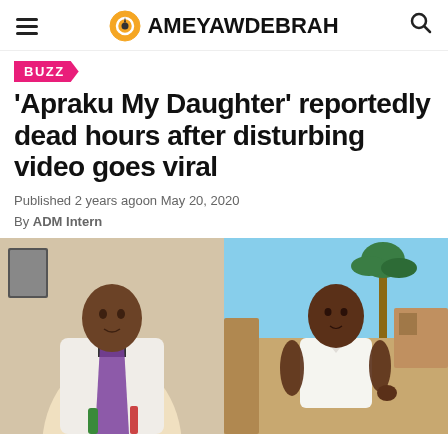AMEYAWDEBRAH
BUZZ
'Apraku My Daughter' reportedly dead hours after disturbing video goes viral
Published 2 years agoon May 20, 2020
By ADM Intern
[Figure (photo): Split image: left side shows a man in a white jacket with a clerical collar and purple stole standing indoors; right side shows a young man in a white shirt outdoors in a rural setting.]